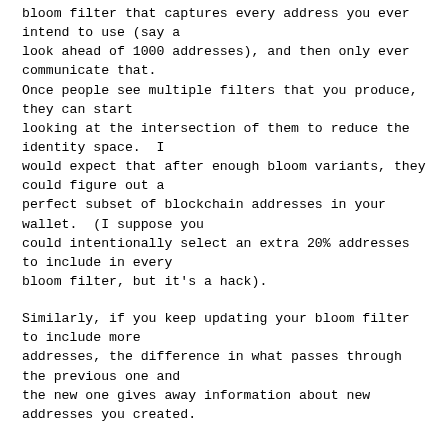bloom filter that captures every address you ever intend to use (say a look ahead of 1000 addresses), and then only ever communicate that. Once people see multiple filters that you produce, they can start looking at the intersection of them to reduce the identity space.  I would expect that after enough bloom variants, they could figure out a perfect subset of blockchain addresses in your wallet.  (I suppose you could intentionally select an extra 20% addresses to include in every bloom filter, but it's a hack).
Similarly, if you keep updating your bloom filter to include more addresses, the difference in what passes through the previous one and the new one gives away information about new addresses you created.